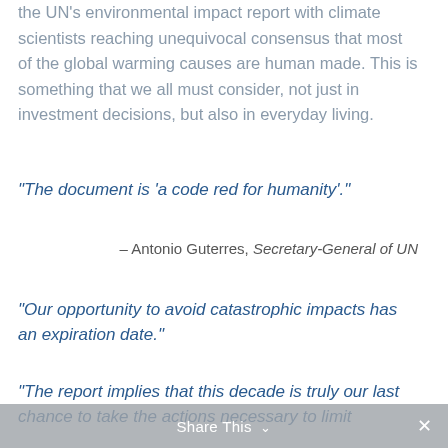the UN's environmental impact report with climate scientists reaching unequivocal consensus that most of the global warming causes are human made. This is something that we all must consider, not just in investment decisions, but also in everyday living.
“The document is ‘a code red for humanity’.”
– Antonio Guterres, Secretary-General of UN
“Our opportunity to avoid catastrophic impacts has an expiration date.”
“The report implies that this decade is truly our last chance to take the actions necessary to limit
Share This